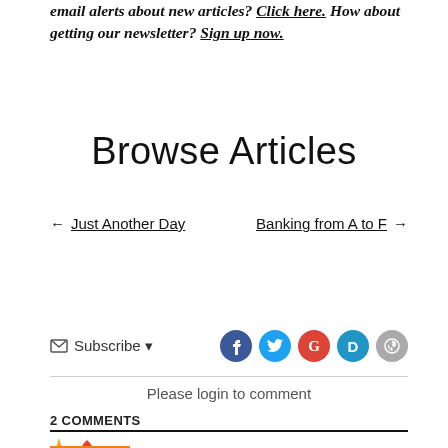email alerts about new articles? Click here. How about getting our newsletter? Sign up now.
Browse Articles
← Just Another Day     Banking from A to F →
✉ Subscribe ▾
Please login to comment
2 COMMENTS